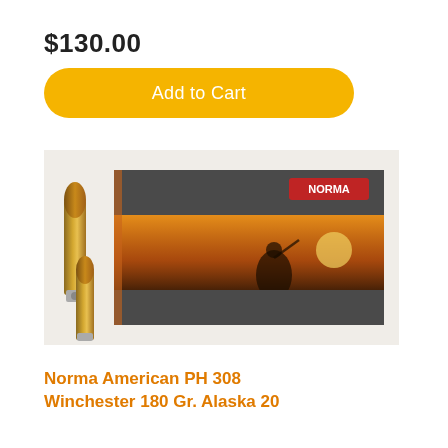$130.00
Add to Cart
[Figure (photo): Product photo showing a Norma ammunition box (gray with orange sunset hunter image) alongside two rifle cartridges (brass/copper) on a white background.]
Norma American PH 308 Winchester 180 Gr. Alaska 20